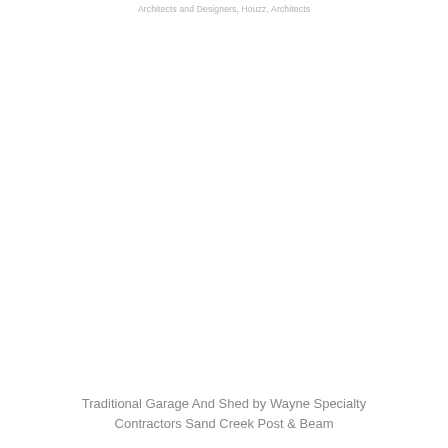Architects and Designers, Houzz, Architects
[Figure (photo): Large white/blank area representing a photo of a traditional garage and shed structure — image content not visible in this rendering.]
Traditional Garage And Shed by Wayne Specialty Contractors Sand Creek Post & Beam